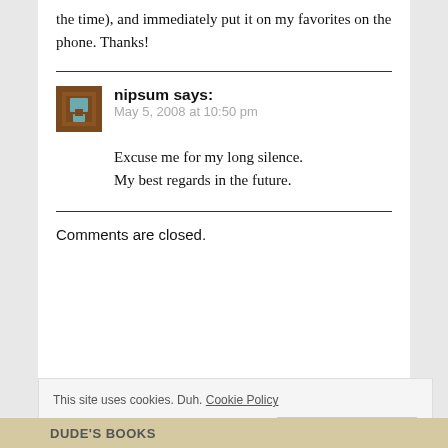the time), and immediately put it on my favorites on the phone. Thanks!
nipsum says:
May 5, 2008 at 10:50 pm
Excuse me for my long silence.
My best regards in the future.
Comments are closed.
This site uses cookies. Duh. Cookie Policy
Close and accept
DUDE'S BOOKS